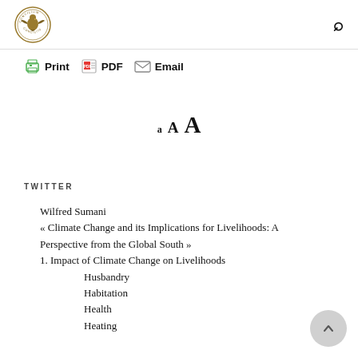[Figure (logo): Concilium Conciliis circular logo with eagle/bird emblem in gold/brown tones]
Print  PDF  Email
a A A
TWITTER
Wilfred Sumani
« Climate Change and its Implications for Livelihoods: A Perspective from the Global South »
1. Impact of Climate Change on Livelihoods
   Husbandry
   Habitation
   Health
   Heating